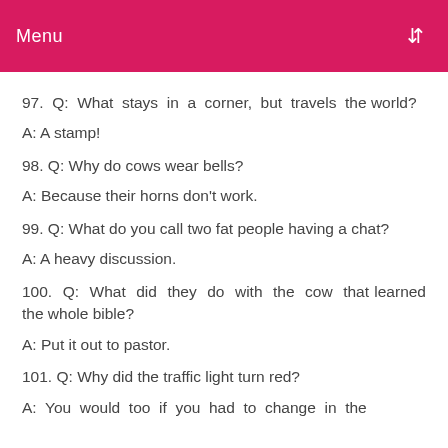Menu
97. Q: What stays in a corner, but travels the world?
A: A stamp!
98. Q: Why do cows wear bells?
A: Because their horns don't work.
99. Q: What do you call two fat people having a chat?
A: A heavy discussion.
100. Q: What did they do with the cow that learned the whole bible?
A: Put it out to pastor.
101. Q: Why did the traffic light turn red?
A: You would too if you had to change in the